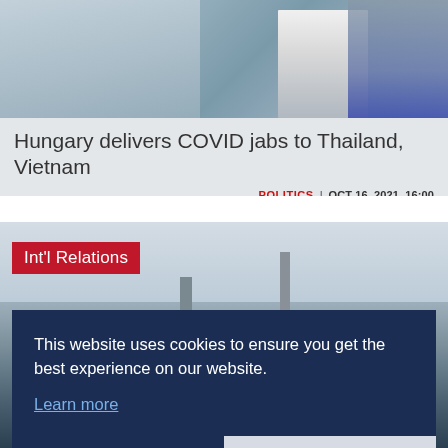[Figure (photo): Photo of a person receiving a COVID vaccination injection, close-up showing arms and torso against blue-grey background]
Hungary delivers COVID jabs to Thailand, Vietnam
POLITICS | OCT 16, 2021, 16:00
[Figure (photo): Photo of a cityscape with bridge and street lamps against a cloudy sky, with Int'l Relations red badge overlay]
This website uses cookies to ensure you get the best experience on our website. Learn more
Decline   Allow cookies